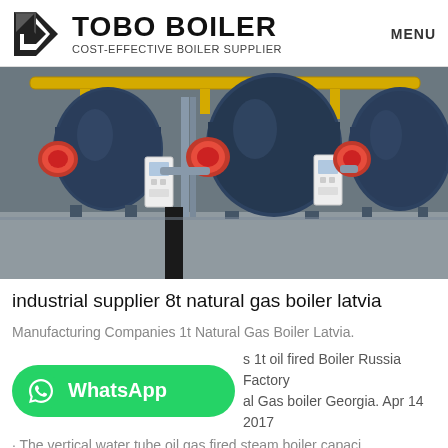TOBO BOILER — COST-EFFECTIVE BOILER SUPPLIER — MENU
[Figure (photo): Industrial boiler facility showing three large cylindrical blue boilers with red burner assemblies, yellow pipework, white control panels, and various piping connections in a factory/warehouse setting.]
industrial supplier 8t natural gas boiler latvia
Manufacturing Companies 1t Natural Gas Boiler Latvia. s 1t oil fired Boiler Russia Factory al Gas boiler Georgia. Apr 14 2017 · The vertical water tube oil gas fired steam boiler capaci...